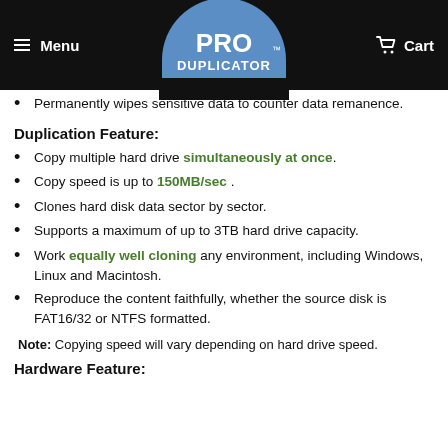[Figure (logo): Pro Duplicator logo — blue semicircle with white bold text PRO DUPLICATOR with trademark symbol]
Permanently wipes sensitive data to counter data remanence.
Duplication Feature:
Copy multiple hard drive simultaneously at once.
Copy speed is up to 150MB/sec .
Clones hard disk data sector by sector.
Supports a maximum of up to 3TB hard drive capacity.
Work equally well cloning any environment, including Windows, Linux and Macintosh.
Reproduce the content faithfully, whether the source disk is FAT16/32 or NTFS formatted.
Note: Copying speed will vary depending on hard drive speed.
Hardware Feature: